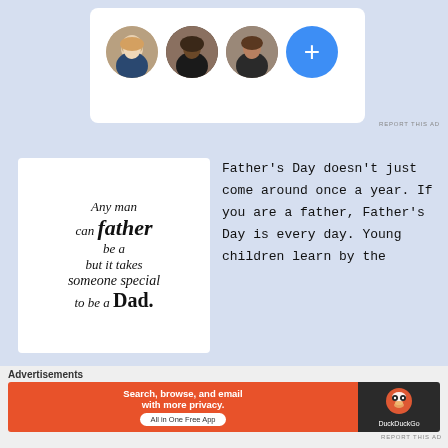[Figure (screenshot): Top ad area with three circular profile photos (woman, Black woman, man) and a blue plus button on a white card]
[Figure (illustration): White square with typographic quote: 'Any man can be a father but it takes someone special to be a Dad.']
Father's Day doesn't just come around once a year. If you are a father, Father's Day is every day. Young children learn by the lives and examples set by parents in their
[Figure (screenshot): DuckDuckGo advertisement banner: 'Search, browse, and email with more privacy. All in One Free App' on orange background with DuckDuckGo logo on dark background]
Advertisements
REPORT THIS AD